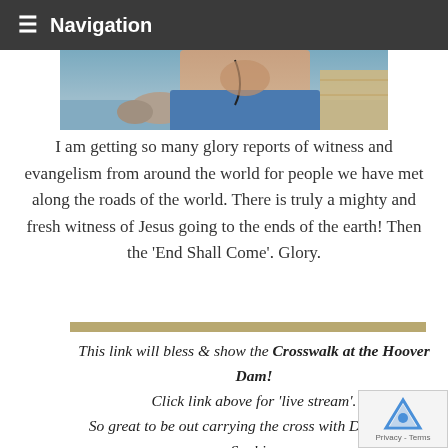Navigation
[Figure (photo): Close-up photo of a person's chin and chest area outdoors near water, wearing a blue shirt with a necklace]
I am getting so many glory reports of witness and evangelism from around the world for people we have met along the roads of the world. There is truly a mighty and fresh witness of Jesus going to the ends of the earth! Then the 'End Shall Come'. Glory.
This link will bless & show the Crosswalk at the Hoover Dam! Click link above for 'live stream'. So great to be out carrying the cross with Denise and Sophia. Praise Jesus! I believe when Jesus comes again it will be